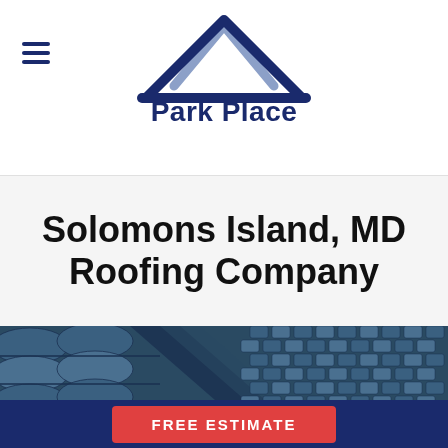[Figure (logo): Park Place roofing company logo with roof peak SVG and bold navy text 'Park Place']
Solomons Island, MD Roofing Company
[Figure (photo): Close-up photo of dark blue/grey clay or concrete roof tiles arranged in overlapping rows, showing the ridge line of a roof]
FREE ESTIMATE